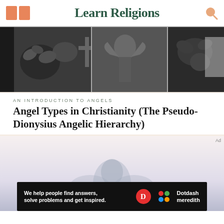Learn Religions
[Figure (photo): Black and white collage of angel statues and cemetery/religious artwork]
AN INTRODUCTION TO ANGELS
Angel Types in Christianity (The Pseudo-Dionysius Angelic Hierarchy)
[Figure (photo): Soft foggy image with a faint silhouette of an angelic figure]
We help people find answers, solve problems and get inspired. Dotdash meredith